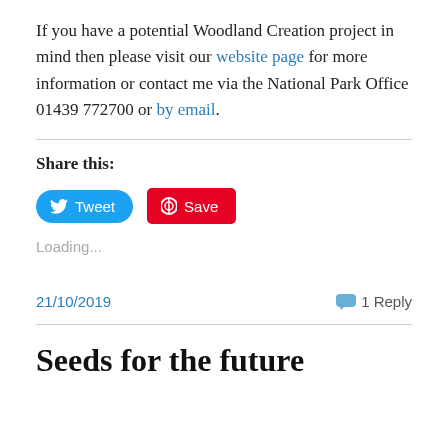If you have a potential Woodland Creation project in mind then please visit our website page for more information or contact me via the National Park Office 01439 772700 or by email.
Share this:
[Figure (other): Tweet and Save social media share buttons]
Loading...
21/10/2019   1 Reply
Seeds for the future